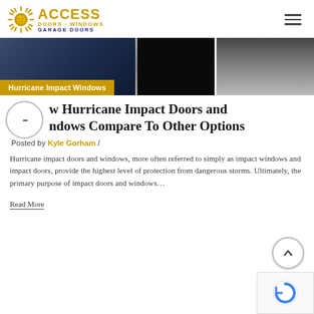[Figure (logo): Access Doors Windows Garage Doors logo with sun icon]
[Figure (photo): Hero banner photo of hurricane impact windows/doors, dark interior shots]
Hurricane Impact Windows
How Hurricane Impact Doors and Windows Compare To Other Options
Posted by Kyle Gorham /
Hurricane impact doors and windows, more often referred to simply as impact windows and impact doors, provide the highest level of protection from dangerous storms. Ultimately, the primary purpose of impact doors and windows…
Read More